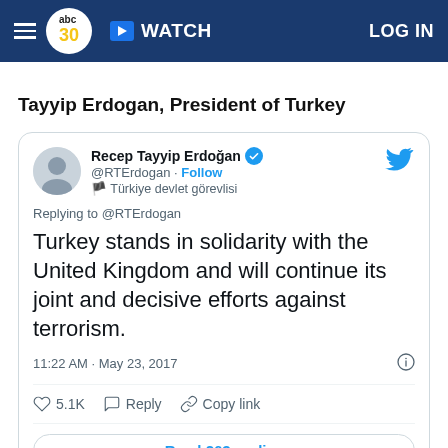abc30 WATCH LOG IN
Tayyip Erdogan, President of Turkey
[Figure (screenshot): Embedded tweet from @RTErdogan (Recep Tayyip Erdoğan, verified account, Türkiye devlet görevlisi). Tweet text: 'Turkey stands in solidarity with the United Kingdom and will continue its joint and decisive efforts against terrorism.' Posted 11:22 AM · May 23, 2017. 5.1K likes. Options: Reply, Copy link. Read 263 replies.]